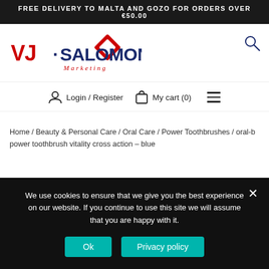FREE DELIVERY TO MALTA AND GOZO FOR ORDERS OVER €50.00
[Figure (logo): VJ Salomone Marketing logo with red diamond shape, red VJ text and dark blue SALOMONE text, red italic Marketing subtitle]
Login / Register
My cart (0)
Home / Beauty & Personal Care / Oral Care / Power Toothbrushes / oral-b power toothbrush vitality cross action – blue
We use cookies to ensure that we give you the best experience on our website. If you continue to use this site we will assume that you are happy with it.
Ok
Privacy policy